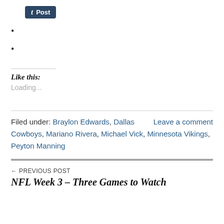[Figure (other): Tumblr Post button with 't' icon]
Like this:
Loading...
Filed under: Braylon Edwards, Dallas Cowboys, Mariano Rivera, Michael Vick, Minnesota Vikings, Peyton Manning
Leave a comment
← PREVIOUS POST
NFL Week 3 – Three Games to Watch